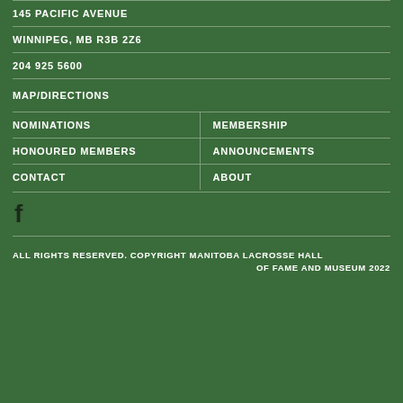145 PACIFIC AVENUE
WINNIPEG, MB R3B 2Z6
204 925 5600
MAP/DIRECTIONS
NOMINATIONS
MEMBERSHIP
HONOURED MEMBERS
ANNOUNCEMENTS
CONTACT
ABOUT
[Figure (illustration): Facebook social media icon (letter f)]
ALL RIGHTS RESERVED. COPYRIGHT MANITOBA LACROSSE HALL OF FAME AND MUSEUM 2022